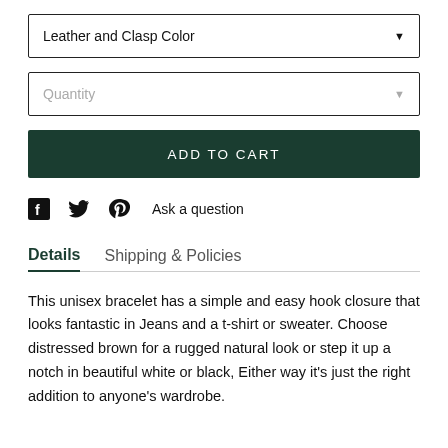Leather and Clasp Color
Quantity
ADD TO CART
Ask a question
Details   Shipping & Policies
This unisex bracelet has a simple and easy hook closure that looks fantastic in Jeans and a t-shirt or sweater. Choose distressed brown for a rugged natural look or step it up a notch in beautiful white or black, Either way it's just the right addition to anyone's wardrobe.